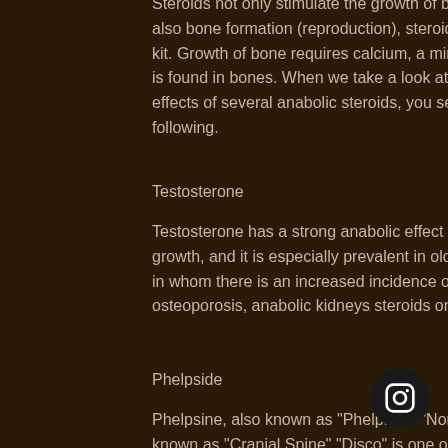Steroids not only stimulate the growth of bone, but also bone formation (reproduction), steroid cycle kit. Growth of bone requires calcium, a mineral that is found in bones. When we take a look at the effects of several anabolic steroids, you see the following.
Testosterone
Testosterone has a strong anabolic effect on bone growth, and it is especially prevalent in older males in whom there is an increased incidence of osteoporosis, anabolic kidneys steroids on effects.
Phelpside
Phelpsine, also known as "Phelps" or "Nordic", also known as "Cranial Spine" "Disco" is one of the two anabolic steroids that is known to stimulate bone growth.